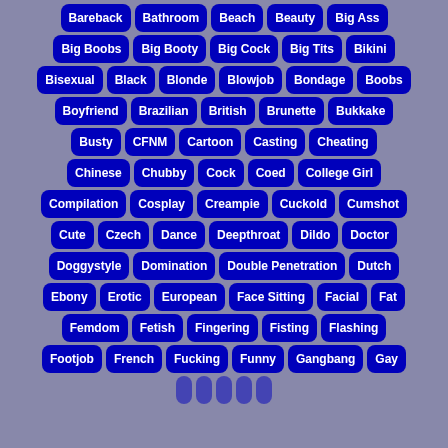Bareback, Bathroom, Beach, Beauty, Big Ass, Big Boobs, Big Booty, Big Cock, Big Tits, Bikini, Bisexual, Black, Blonde, Blowjob, Bondage, Boobs, Boyfriend, Brazilian, British, Brunette, Bukkake, Busty, CFNM, Cartoon, Casting, Cheating, Chinese, Chubby, Cock, Coed, College Girl, Compilation, Cosplay, Creampie, Cuckold, Cumshot, Cute, Czech, Dance, Deepthroat, Dildo, Doctor, Doggystyle, Domination, Double Penetration, Dutch, Ebony, Erotic, European, Face Sitting, Facial, Fat, Femdom, Fetish, Fingering, Fisting, Flashing, Footjob, French, Fucking, Funny, Gangbang, Gay